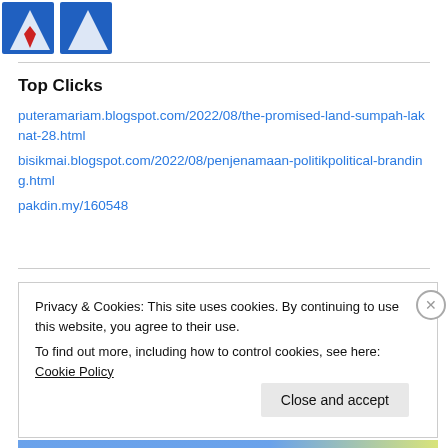[Figure (logo): Partial logo with blue and red shapes, appears to be a person icon with red tie on blue background]
Top Clicks
puteramariam.blogspot.com/2022/08/the-promised-land-sumpah-laknat-28.html
bisikmai.blogspot.com/2022/08/penjenamaan-politikpolitical-branding.html
pakdin.my/160548
Privacy & Cookies: This site uses cookies. By continuing to use this website, you agree to their use. To find out more, including how to control cookies, see here: Cookie Policy
Close and accept